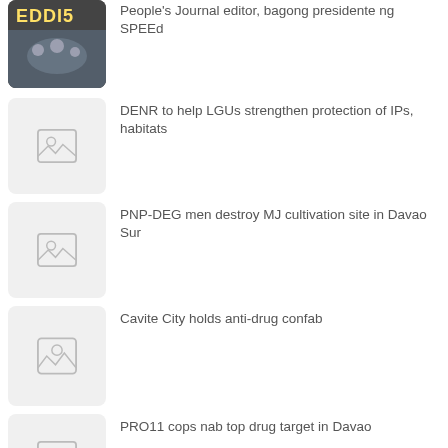People's Journal editor, bagong presidente ng SPEEd
DENR to help LGUs strengthen protection of IPs, habitats
PNP-DEG men destroy MJ cultivation site in Davao Sur
Cavite City holds anti-drug confab
PRO11 cops nab top drug target in Davao
PNP steps up security measures ahead of